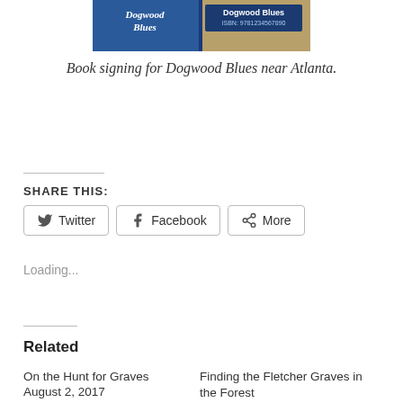[Figure (photo): Book cover or book signing display for 'Dogwood Blues' with blue and tan/beige background]
Book signing for Dogwood Blues near Atlanta.
SHARE THIS:
Twitter  Facebook  More
Loading...
Related
On the Hunt for Graves
August 2, 2017
Finding the Fletcher Graves in the Forest